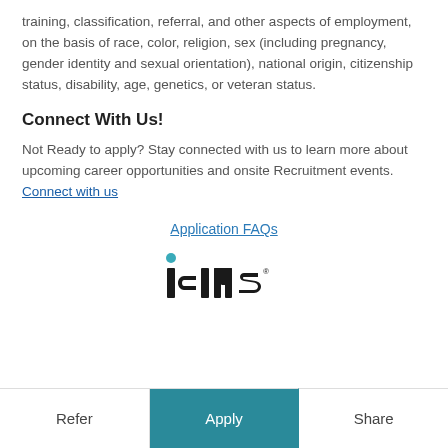training, classification, referral, and other aspects of employment, on the basis of race, color, religion, sex (including pregnancy, gender identity and sexual orientation), national origin, citizenship status, disability, age, genetics, or veteran status.
Connect With Us!
Not Ready to apply? Stay connected with us to learn more about upcoming career opportunities and onsite Recruitment events. Connect with us
Application FAQs
[Figure (logo): iCIMS logo — lowercase 'icims' lettering with a teal dot above the 'i']
Refer | Apply | Share